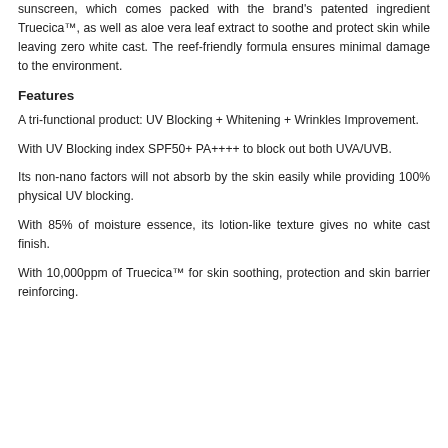sunscreen, which comes packed with the brand's patented ingredient Truecica™, as well as aloe vera leaf extract to soothe and protect skin while leaving zero white cast. The reef-friendly formula ensures minimal damage to the environment.
Features
A tri-functional product: UV Blocking + Whitening + Wrinkles Improvement.
With UV Blocking index SPF50+ PA++++ to block out both UVA/UVB.
Its non-nano factors will not absorb by the skin easily while providing 100% physical UV blocking.
With 85% of moisture essence, its lotion-like texture gives no white cast finish.
With 10,000ppm of Truecica™ for skin soothing, protection and skin barrier reinforcing.